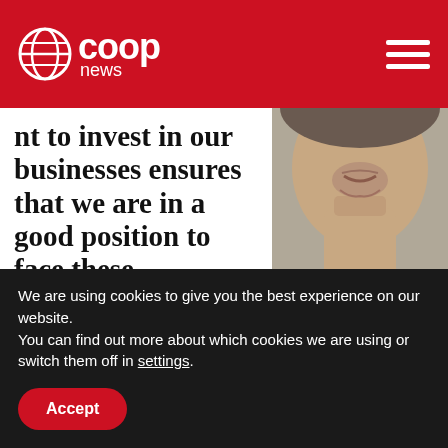Co-op News
nt to invest in our businesses ensures that we are in a good position to face these challenges,"
[Figure (photo): Close-up photo of a man in a dark suit and tie, smiling slightly, from the chin down to the chest.]
Midcounties group chief executive Ben Reid
We are using cookies to give you the best experience on our website.
You can find out more about which cookies we are using or switch them off in settings.
Accept